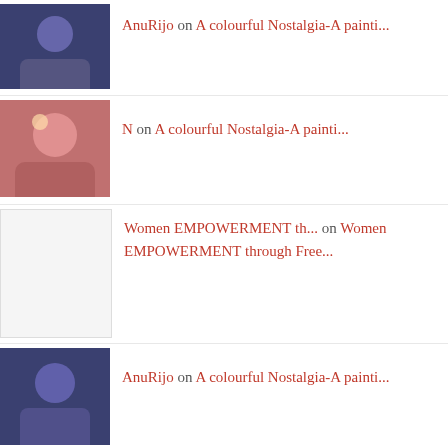AnuRijo on A colourful Nostalgia-A painti...
N on A colourful Nostalgia-A painti...
Women EMPOWERMENT th... on Women EMPOWERMENT through Free...
AnuRijo on A colourful Nostalgia-A painti...
preranagore on A colourful Nostalgia-A painti...
Privacy & Cookies: This site uses cookies. By continuing to use this website, you agree to their use.
To find out more, including how to control cookies, see here: Cookie Policy
Close and accept